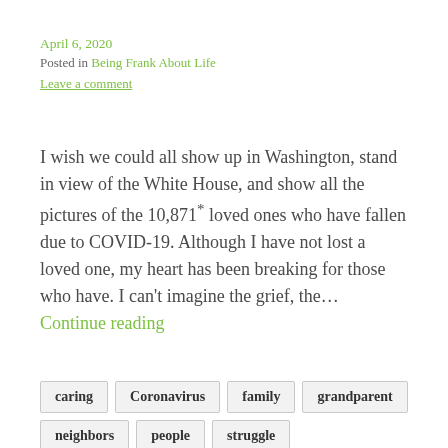April 6, 2020
Posted in Being Frank About Life
Leave a comment
I wish we could all show up in Washington, stand in view of the White House, and show all the pictures of the 10,871* loved ones who have fallen due to COVID-19. Although I have not lost a loved one, my heart has been breaking for those who have. I can't imagine the grief, the… Continue reading
caring
Coronavirus
family
grandparent
neighbors
people
struggle